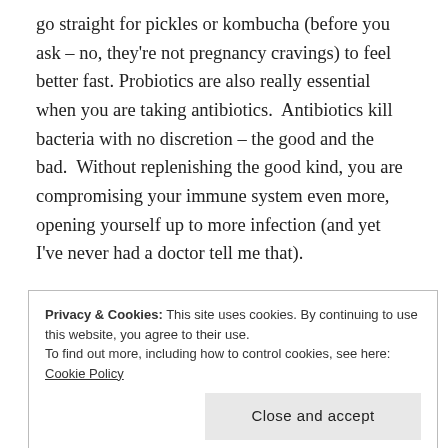go straight for pickles or kombucha (before you ask – no, they're not pregnancy cravings) to feel better fast. Probiotics are also really essential when you are taking antibiotics. Antibiotics kill bacteria with no discretion – the good and the bad. Without replenishing the good kind, you are compromising your immune system even more, opening yourself up to more infection (and yet I've never had a doctor tell me that).
While you can certainly take pricey probiotic supplements to boost your system, you could also start eating fermented foods like (raw, unpasteurized) yogurt, real (no preservatives) pickles, kimchi and sauerkraut OR by drinking delicious kombucha. For
Privacy & Cookies: This site uses cookies. By continuing to use this website, you agree to their use.
To find out more, including how to control cookies, see here: Cookie Policy
addicted to soda, and you can even use it as a cocktail mixer – I